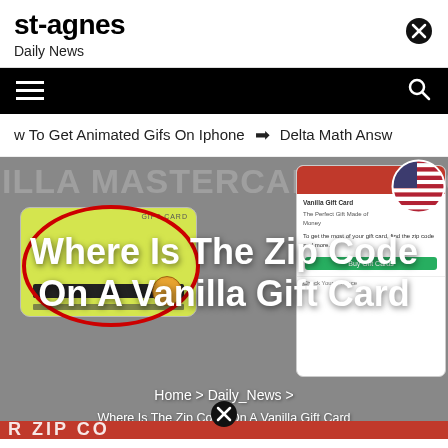st-agnes
Daily News
[Figure (screenshot): Website navigation bar with hamburger menu on left and search icon on right, black background]
w To Get Animated Gifs On Iphone   ➔   Delta Math Answ
[Figure (photo): Hero image showing Vanilla Mastercard Gift Card with red circle highlight, overlaid with article title text and breadcrumb navigation]
Where Is The Zip Code On A Vanilla Gift Card
Home > Daily_News > Where Is The Zip Code On A Vanilla Gift Card